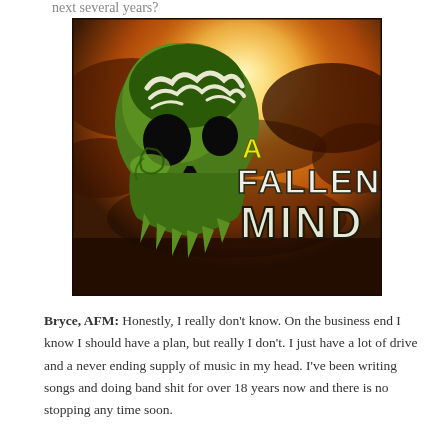next several years?
[Figure (photo): Band logo image for 'A Fallen Mind' featuring a green stylized skull on a dramatic fiery orange/red cloudy background with the band name text in grunge style]
Bryce, AFM: Honestly, I really don't know. On the business end I know I should have a plan, but really I don't. I just have a lot of drive and a never ending supply of music in my head. I've been writing songs and doing band shit for over 18 years now and there is no stopping any time soon.